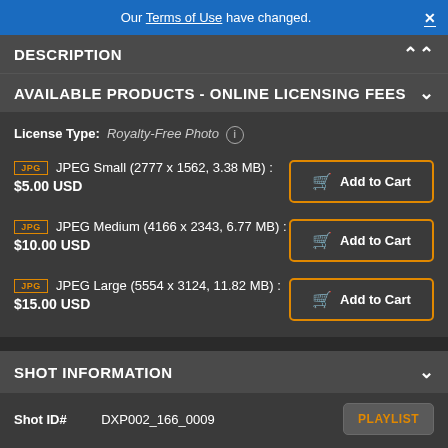Our Terms of Use have changed.
DESCRIPTION
AVAILABLE PRODUCTS - ONLINE LICENSING FEES
License Type: Royalty-Free Photo
JPG JPEG Small (2777 x 1562, 3.38 MB) : $5.00 USD
JPG JPEG Medium (4166 x 2343, 6.77 MB) : $10.00 USD
JPG JPEG Large (5554 x 3124, 11.82 MB) : $15.00 USD
SHOT INFORMATION
Shot ID#    DXP002_166_0009